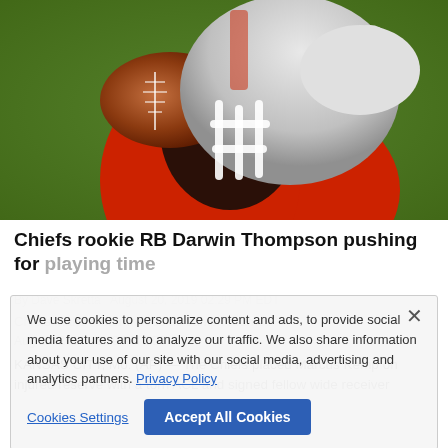[Figure (photo): A Kansas City Chiefs football player in red uniform and white helmet catching a football, close-up action shot.]
Chiefs rookie RB Darwin Thompson pushing for playing time
By Dave Skretta August 20, 2019 02:29 PM EDT
Chiefs make roster moves as camp resumes
Aug 20, 2019 02:29 PM EDT
KANSAS CITY, Mo. (AP) — The Chiefs placed Marcus Kemp on injured reserve with a torn ACL and signed fellow wide receiver
We use cookies to personalize content and ads, to provide social media features and to analyze our traffic. We also share information about your use of our site with our social media, advertising and analytics partners. Privacy Policy
Cookies Settings
Accept All Cookies